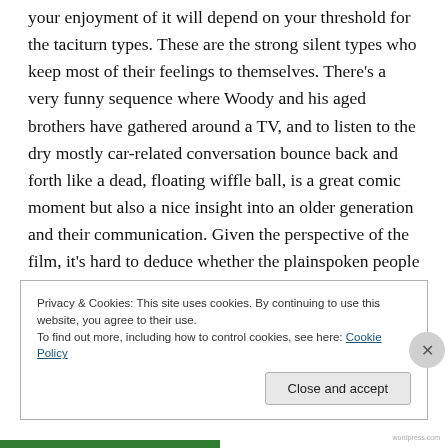your enjoyment of it will depend on your threshold for the taciturn types. These are the strong silent types who keep most of their feelings to themselves. There's a very funny sequence where Woody and his aged brothers have gathered around a TV, and to listen to the dry mostly car-related conversation bounce back and forth like a dead, floating wiffle ball, is a great comic moment but also a nice insight into an older generation and their communication. Given the perspective of the film, it's hard to deduce whether the plainspoken people are being satirized or whether it's a loving send-up of a specific culture. With
Privacy & Cookies: This site uses cookies. By continuing to use this website, you agree to their use.
To find out more, including how to control cookies, see here: Cookie Policy
Close and accept